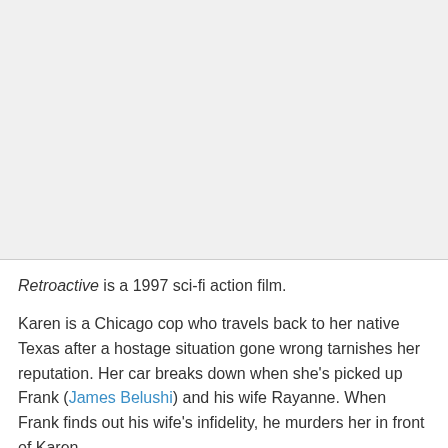[Figure (other): Large grey placeholder image area occupying the top portion of the page]
Retroactive is a 1997 sci-fi action film.
Karen is a Chicago cop who travels back to her native Texas after a hostage situation gone wrong tarnishes her reputation. Her car breaks down when she's picked up Frank (James Belushi) and his wife Rayanne. When Frank finds out his wife's infidelity, he murders her in front of Karen